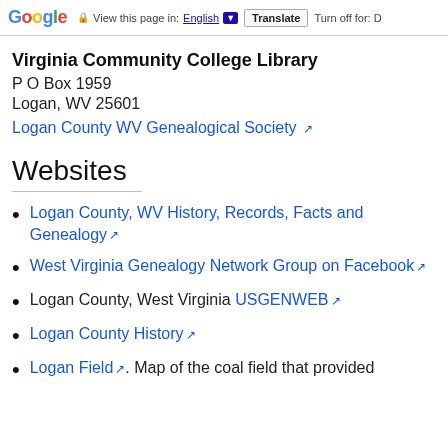Google | View this page in: English [▼] | Translate | Turn off for: D
Virginia Community College Library
P O Box 1959
Logan, WV 25601
Logan County WV Genealogical Society ↗
Websites
Logan County, WV History, Records, Facts and Genealogy ↗
West Virginia Genealogy Network Group on Facebook ↗
Logan County, West Virginia USGENWEB ↗
Logan County History ↗
Logan Field ↗. Map of the coal field that provided